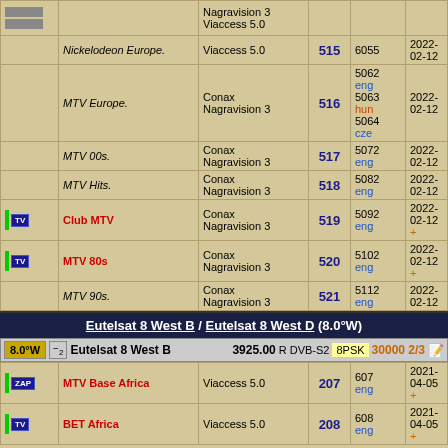| Icon | Channel | Encryption | SID | VPID | Date |
| --- | --- | --- | --- | --- | --- |
|  |  | Nagravision 3 / Viaccess 5.0 |  |  |  |
|  | Nickelodeon Europe. | Viaccess 5.0 | 515 | 6055 | 2022-02-12 |
|  | MTV Europe. | Conax / Nagravision 3 | 516 | 5062 eng / 5063 hun / 5064 cze | 2022-02-12 |
|  | MTV 00s. | Conax / Nagravision 3 | 517 | 5072 eng | 2022-02-12 |
|  | MTV Hits. | Conax / Nagravision 3 | 518 | 5082 eng | 2022-02-12 |
| TV | Club MTV | Conax / Nagravision 3 | 519 | 5092 eng | 2022-02-12 + |
| TV | MTV 80s | Conax / Nagravision 3 | 520 | 5102 eng | 2022-02-12 + |
|  | MTV 90s. | Conax / Nagravision 3 | 521 | 5112 eng | 2022-02-12 |
Eutelsat 8 West B / Eutelsat 8 West D (8.0°W)
| Label | Name | Freq | Pol | System | Mod | SR/FEC | Edit |
| --- | --- | --- | --- | --- | --- | --- | --- |
| 8.0°W | Eutelsat 8 West B | 3925.00 | R | DVB-S2 | 8PSK | 30000 2/3 |  |
| Icon | Channel | Encryption | SID | VPID | Date |
| --- | --- | --- | --- | --- | --- |
| ZAP | MTV Base Africa | Viaccess 5.0 | 207 | 607 eng | 2021-04-05 + |
| TV | BET Africa | Viaccess 5.0 | 208 | 608 eng | 2021-04-05 + |
✏ I Tuoi commenti / Aggiornamenti